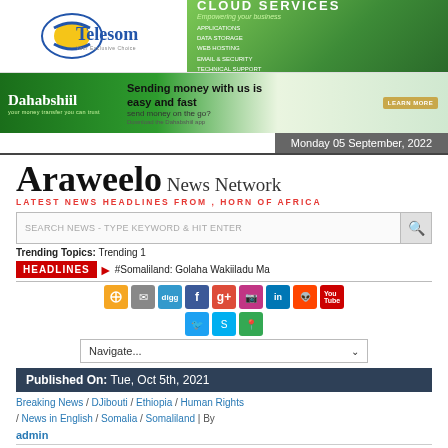[Figure (logo): Telesom logo and Cloud Services banner advertisement with green gradient background]
[Figure (logo): Dahabshiil banner: Sending money with us is easy and fast, send money on the go?]
Monday 05 September, 2022
Araweelo News Network
LATEST NEWS HEADLINES FROM , HORN OF AFRICA
SEARCH NEWS - TYPE KEYWORD & HIT ENTER
Trending Topics: Trending 1
HEADLINES #Somaliland: Golaha Wakiiladu Ma
[Figure (infographic): Social media icon buttons: RSS, email, digg, Facebook, Google+, Instagram, LinkedIn, Reddit, YouTube, Twitter, Skype, Maps]
Navigate...
Published On: Tue, Oct 5th, 2021
Breaking News / DJibouti / Ethiopia / Human Rights / News in English / Somalia / Somaliland | By
admin